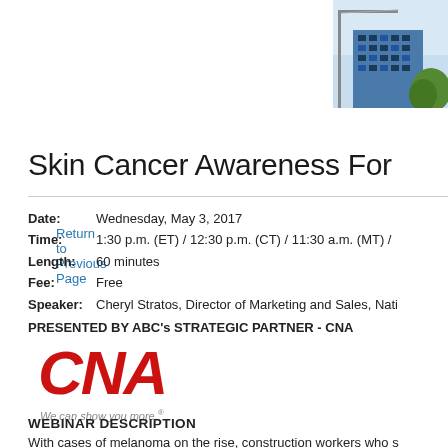[Figure (photo): Building/construction site image in upper right corner, blue-toned architectural photo]
Return to Previous Page
Skin Cancer Awareness For
Date: Wednesday, May 3, 2017
Time: 1:30 p.m. (ET) / 12:30 p.m. (CT) / 11:30 a.m. (MT) / ...
Length: 60 minutes
Fee: Free
Speaker: Cheryl Stratos, Director of Marketing and Sales, Nati...
PRESENTED BY ABC's STRATEGIC PARTNER - CNA
[Figure (logo): CNA logo in red italic bold text with tagline 'We can show you more.']
WEBINAR DESCRIPTION
With cases of melanoma on the rise, construction workers who s